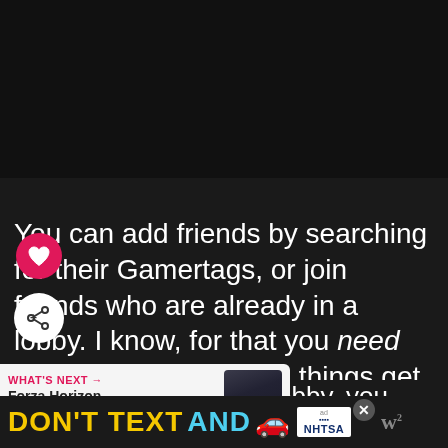[Figure (screenshot): Black video/media player area at top of page]
You can add friends by searching for their Gamertags, or join friends who are already in a lobby. I know, for that you need friends, but hang tight, things get better eventually.
[Figure (other): Heart (like) button - pink circular button with heart icon]
[Figure (other): Share button - white circular button with share icon]
Once created a game lobby, you can invite friends who are online to join you.
[Figure (other): What's Next promotional box: Forza Horizon Finally Arriv...]
[Figure (other): Ad banner: DON'T TEXT AND [car emoji] NHTSA advertisement]